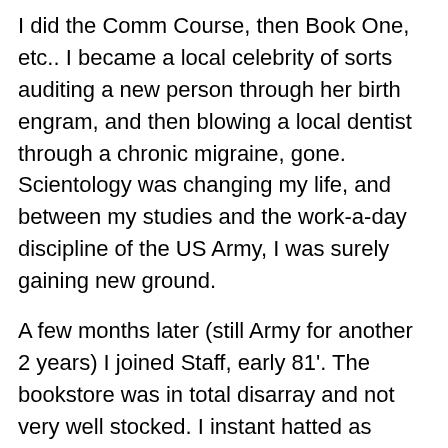I did the Comm Course, then Book One, etc..  I became a local celebrity of sorts auditing a new person through her birth engram, and then blowing a local dentist through a chronic migraine, gone.  Scientology was changing my life, and between my studies and the work-a-day discipline of the US Army, I was surely gaining new ground.
A few months later (still Army for another 2 years) I joined Staff, early 81'.  The bookstore was in total disarray and not very well stocked.  I instant hatted as BSO, SS 0, I & II right off and a little later read through Big League Sales, by Les Dane.
I started selling books, a lot of books, reading and applying every LRH policy on book sales I could get my hands on and managed the book accounts and built up the stock with organized displays in short order.   Several